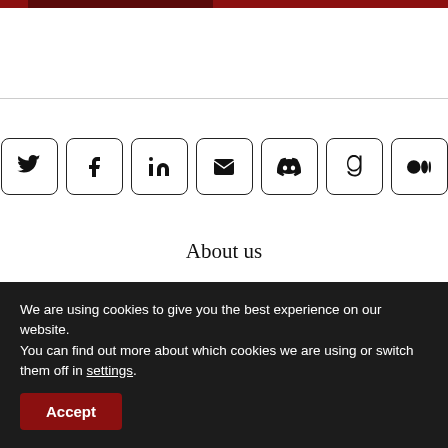[Figure (other): Social media icon buttons: Twitter, Facebook, LinkedIn, Email, Discord, Goodreads, Medium]
About us
Our Authors
Opportunities
We are using cookies to give you the best experience on our website.
You can find out more about which cookies we are using or switch them off in settings.
Accept